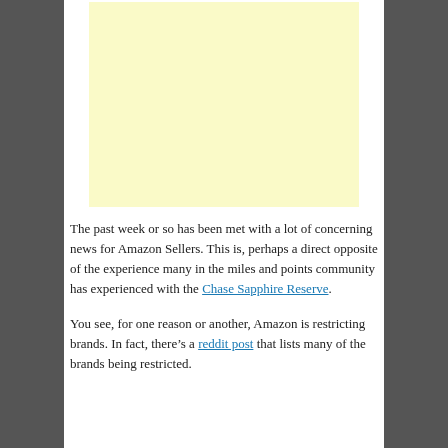[Figure (other): Light yellow advertisement placeholder box]
The past week or so has been met with a lot of concerning news for Amazon Sellers. This is, perhaps a direct opposite of the experience many in the miles and points community has experienced with the Chase Sapphire Reserve.
You see, for one reason or another, Amazon is restricting brands. In fact, there’s a reddit post that lists many of the brands being restricted.